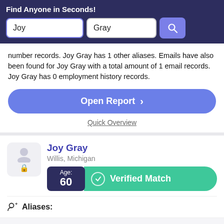Find Anyone in Seconds!
Joy
Gray
number records. Joy Gray has 1 other aliases. Emails have also been found for Joy Gray with a total amount of 1 email records. Joy Gray has 0 employment history records.
Open Report >
Quick Overview
Joy Gray
Willis, Michigan
Age: 60
Verified Match
Aliases: